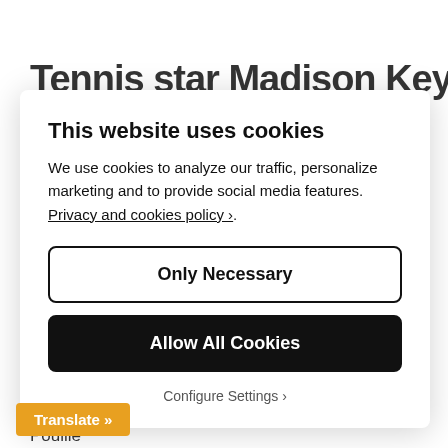Tennis star Madison Keys back...
...premium water company's Live Young lineup Wawrinka, Maria Sharapova, Lucas Pouille
[Figure (screenshot): Cookie consent modal dialog overlay on a webpage. Contains title 'This website uses cookies', body text about cookie usage with a Privacy and cookies policy link, two buttons: 'Only Necessary' (white/outlined) and 'Allow All Cookies' (black/filled), and a 'Configure Settings ›' text link. A yellow 'Translate »' button appears at the bottom left.]